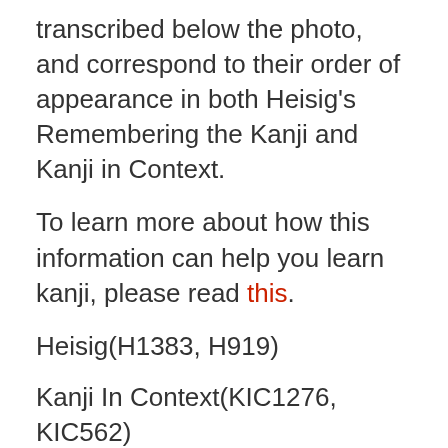transcribed below the photo, and correspond to their order of appearance in both Heisig’s Remembering the Kanji and Kanji in Context.
To learn more about how this information can help you learn kanji, please read this.
Heisig(H1383, H919)
Kanji In Context(KIC1276, KIC562)
Originally posted 2014-01-31 00:46:07.
Kanji Kanban
joyo kanji, Kanji reading practice, kanji